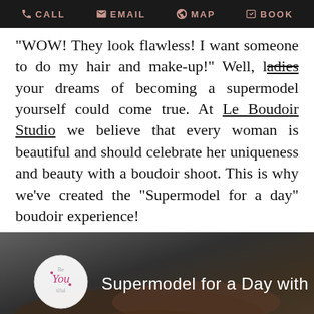CALL  EMAIL  MAP  BOOK
"WOW! They look flawless! I want someone to do my hair and make-up!" Well, ladies your dreams of becoming a supermodel yourself could come true. At Le Boudoir Studio we believe that every woman is beautiful and should celebrate her uniqueness and beauty with a boudoir shoot. This is why we've created the "Supermodel for a day" boudoir experience!
[Figure (photo): Dark photo showing a person lying down, with a circular logo reading 'Be You tiful' and overlay text 'Supermodel for a Day with Le']